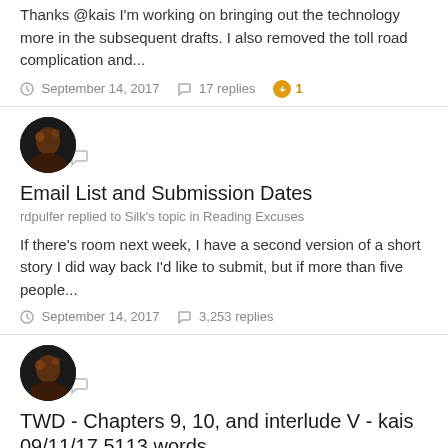Thanks @kais I'm working on bringing out the technology more in the subsequent drafts. I also removed the toll road complication and...
September 14, 2017   17 replies   +1
[Figure (illustration): User avatar with chat badge overlay]
Email List and Submission Dates
rdpulfer replied to Silk's topic in Reading Excuses
If there's room next week, I have a second version of a short story I did way back I'd like to submit, but if more than five people...
September 14, 2017   3,253 replies
[Figure (illustration): User avatar with chat badge overlay]
TWD - Chapters 9, 10, and interlude V - kais 09/11/17 5113 words
rdpulfer replied to kais's topic in Reading Excuses
- I like the confrontation between Sorin and Magda - and how she